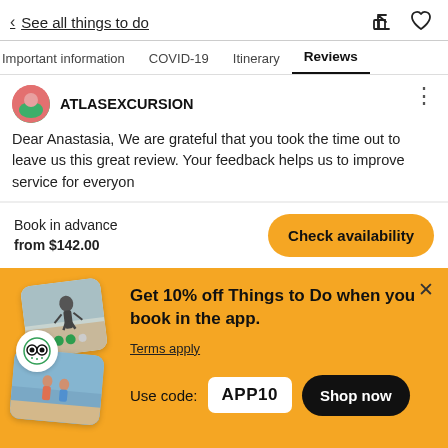< See all things to do
Important information   COVID-19   Itinerary   Reviews
ATLASEXCURSION
Dear Anastasia, We are grateful that you took the time out to leave us this great review. Your feedback helps us to improve service for everyon
Book in advance
from $142.00
Check availability
Get 10% off Things to Do when you book in the app.
Terms apply
Use code: APP10
Shop now